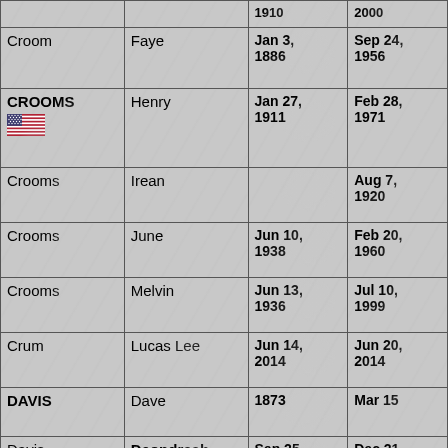| Last Name | First Name | Birth | Death |
| --- | --- | --- | --- |
|  |  | 1910 | 2000 |
| Croom | Faye | Jan 3, 1886 | Sep 24, 1956 |
| CROOMS [flag] | Henry | Jan 27, 1911 | Feb 28, 1971 |
| Crooms | Irean |  | Aug 7, 1920 |
| Crooms | June | Jun 10, 1938 | Feb 20, 1960 |
| Crooms | Melvin | Jun 13, 1936 | Jul 10, 1999 |
| Crum | Lucas Lee | Jun 14, 2014 | Jun 20, 2014 |
| DAVIS | Dave | 1873 | Mar 15 |
| Davis | Deondreah Sharalyn Nicole | Sep 25, 2000 | Dec 21, 2000 |
| DAVIS | Eliga | 1927 | 1946 |